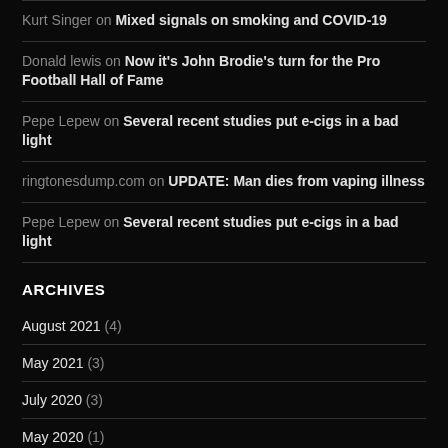Kurt Singer on Mixed signals on smoking and COVID-19
Donald lewis on Now it's John Brodie's turn for the Pro Football Hall of Fame
Pepe Lepew on Several recent studies put e-cigs in a bad light
ringtonesdump.com on UPDATE: Man dies from vaping illness
Pepe Lepew on Several recent studies put e-cigs in a bad light
ARCHIVES
August 2021 (4)
May 2021 (3)
July 2020 (3)
May 2020 (1)